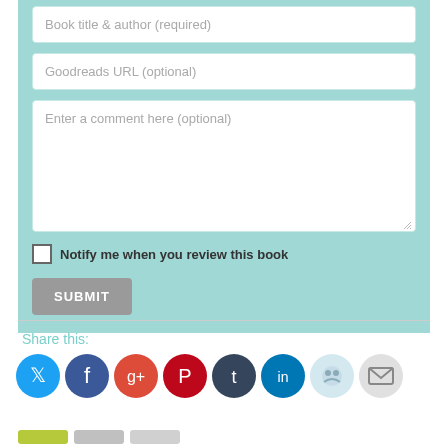Book title & author (required)
Goodreads URL (optional)
Enter a comment here (optional)
Notify me when you review this book
SUBMIT
Share this:
[Figure (infographic): Social sharing icons: Twitter, Facebook, Google+, Pinterest, Tumblr, LinkedIn, Reddit, Email]